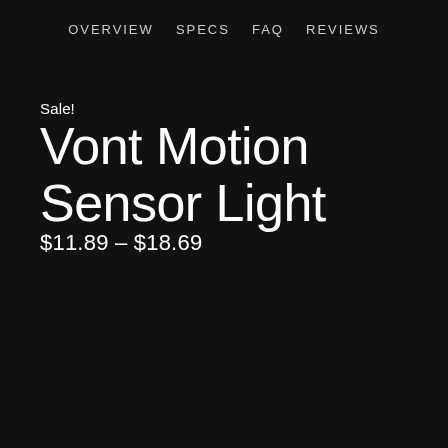OVERVIEW   SPECS   FAQ   REVIEWS
Sale!
Vont Motion Sensor Light
$11.89 – $18.69